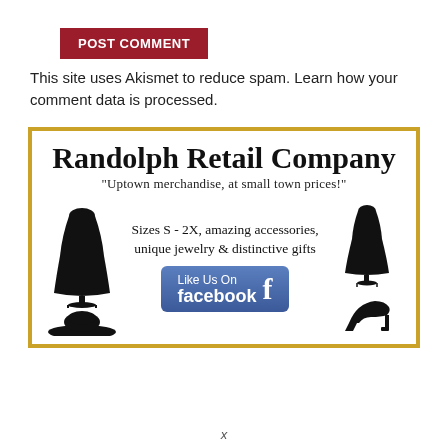POST COMMENT
This site uses Akismet to reduce spam. Learn how your comment data is processed.
[Figure (infographic): Randolph Retail Company advertisement banner with gold border. Contains company name, tagline 'Uptown merchandise, at small town prices!', text about sizes S-2X, accessories, jewelry and gifts, Facebook Like Us button, and fashion silhouettes including dress forms, hat, and high heel shoe.]